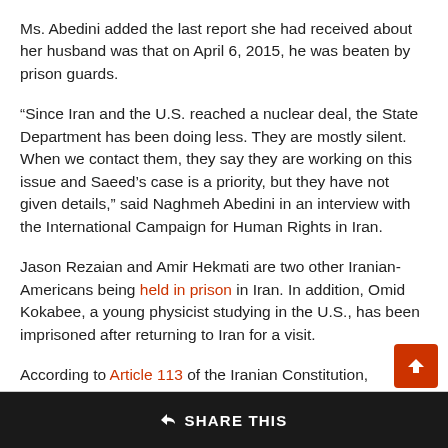Ms. Abedini added the last report she had received about her husband was that on April 6, 2015, he was beaten by prison guards.
“Since Iran and the U.S. reached a nuclear deal, the State Department has been doing less. They are mostly silent. When we contact them, they say they are working on this issue and Saeed’s case is a priority, but they have not given details,” said Naghmeh Abedini in an interview with the International Campaign for Human Rights in Iran.
Jason Rezaian and Amir Hekmati are two other Iranian-Americans being held in prison in Iran. In addition, Omid Kokabee, a young physicist studying in the U.S., has been imprisoned after returning to Iran for a visit.
According to Article 113 of the Iranian Constitution, President Rouhani has the authority to question the Judiciary regarding the condition of prisoners and their fair treatment under the law.
SHARE THIS